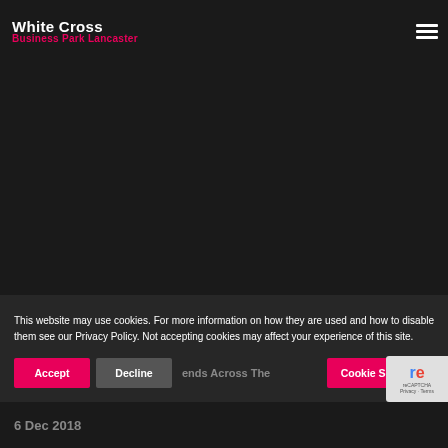White Cross Business Park Lancaster
[Figure (screenshot): Dark background area representing a webpage screenshot with a dark hero/content area below the navigation header]
This website may use cookies. For more information on how they are used and how to disable them see our Privacy Policy. Not accepting cookies may affect your experience of this site.
Accept | Decline | Cookie Settings
...ends Across The
6 Dec 2018